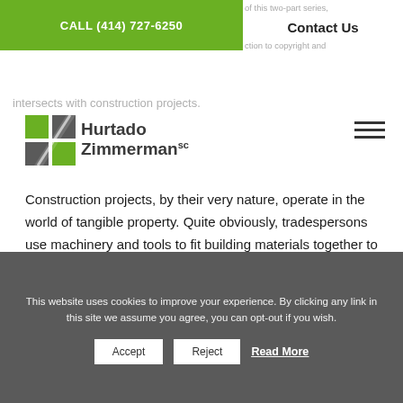CALL (414) 727-6250
Contact Us
[Figure (logo): Hurtado Zimmerman SC law firm logo with green and gray squares]
intersects with construction projects.
of this two-part series, ction to copyright and
Construction projects, by their very nature, operate in the world of tangible property. Quite obviously, tradespersons use machinery and tools to fit building materials together to construct physical buildings.
With material goods acting as both the figurative and literal foundation of the industry, construction companies, and by extension, their construction contracts, could easily focus solely on the tangible elements of each
This website uses cookies to improve your experience. By clicking any link in this site we assume you agree, you can opt-out if you wish.